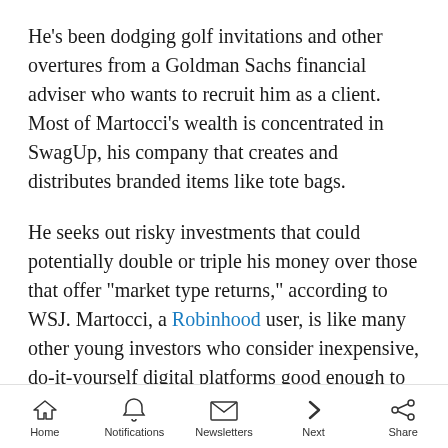He's been dodging golf invitations and other overtures from a Goldman Sachs financial adviser who wants to recruit him as a client. Most of Martocci's wealth is concentrated in SwagUp, his company that creates and distributes branded items like tote bags.
He seeks out risky investments that could potentially double or triple his money over those that offer "market type returns," according to WSJ. Martocci, a Robinhood user, is like many other young investors who consider inexpensive, do-it-yourself digital platforms good enough to provide direction on investing. As well, many
Home   Notifications   Newsletters   Next   Share